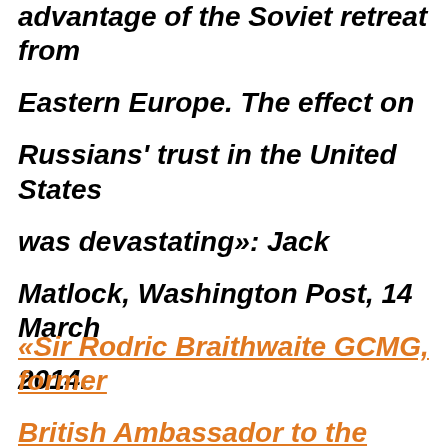advantage of the Soviet retreat from Eastern Europe. The effect on Russians' trust in the United States was devastating»: Jack Matlock, Washington Post, 14 March 2014.
«Sir Rodric Braithwaite GCMG, former British Ambassador to the Soviet